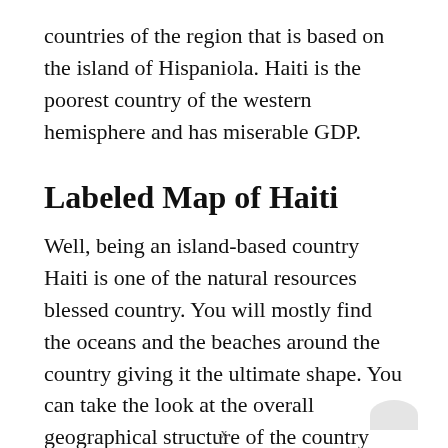countries of the region that is based on the island of Hispaniola. Haiti is the poorest country of the western hemisphere and has miserable GDP.
Labeled Map of Haiti
Well, being an island-based country Haiti is one of the natural resources blessed country. You will mostly find the oceans and the beaches around the country giving it the ultimate shape. You can take the look at the overall geographical structure of the country with our labeled map.
x